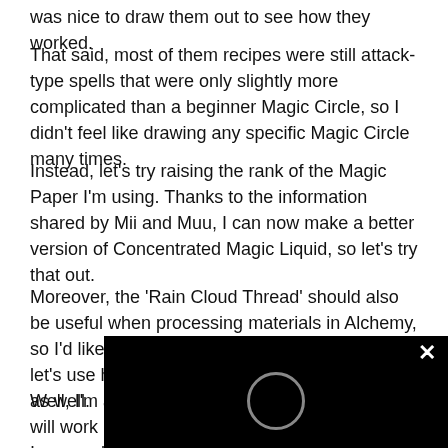was nice to draw them out to see how they worked.
That said, most of them recipes were still attack-type spells that were only slightly more complicated than a beginner Magic Circle, so I didn't feel like drawing any specific Magic Circle many times.
Instead, let's try raising the rank of the Magic Paper I'm using. Thanks to the information shared by Mii and Muu, I can now make a better version of Concentrated Magic Liquid, so let's try that out.
Moreover, the 'Rain Cloud Thread' should also be useful when processing materials in Alchemy, so I'd like to use it here too… And of course, let's use high-rank materials from Eku Labyrinth as well.
Well, I'm a bit worried if that will work... Improved Alchemy skill didn't gain tha... when compared to my other evolved s...
[Figure (other): Black overlay popup/dialog box with a white X close button and a circular loading or button icon in the center, partially covering the bottom-right of the page content.]